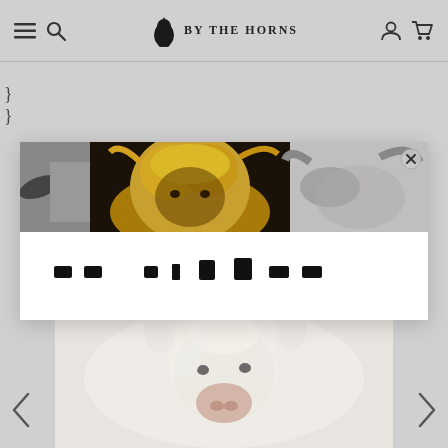BY THE HORNS — navigation header with menu, search, brand logo, account and cart icons
}
[Figure (screenshot): Lightbox overlay showing a collage strip of highland cow photos at top (sepia/golden colored cow face center, black-and-white cow horns on sides), with a close X button on the right side, and a partially visible bold text line below the image strip on white background]
[Figure (photo): White/pale fluffy highland cow facing forward, photographed against a light background, shown in lower portion of page]
< >